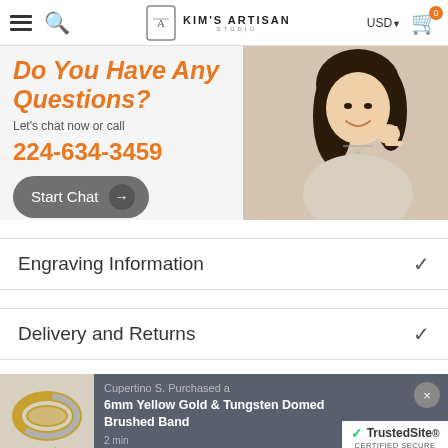Kim's Artisan Studio | USD | Cart 0
[Figure (screenshot): Promotional banner with orange text 'Do You Have Any Questions?', phone number 224-634-3459, Start Chat button, and photo of smiling woman making call-me gesture]
Engraving Information
Delivery and Returns
[Figure (photo): Notification bar showing product purchase: Cupertino S. Purchased a 6mm Yellow Gold & Tungsten Domed Brushed Band, with ring image and TrustedSite Certified Secure badge]